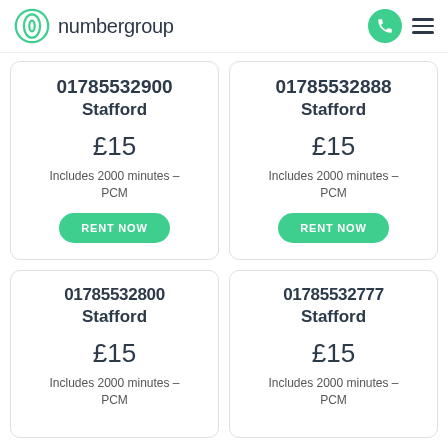numbergroup
01785532900
Stafford
£15
Includes 2000 minutes - PCM
01785532888
Stafford
£15
Includes 2000 minutes - PCM
01785532800
Stafford
£15
Includes 2000 minutes - PCM
01785532777
Stafford
£15
Includes 2000 minutes - PCM